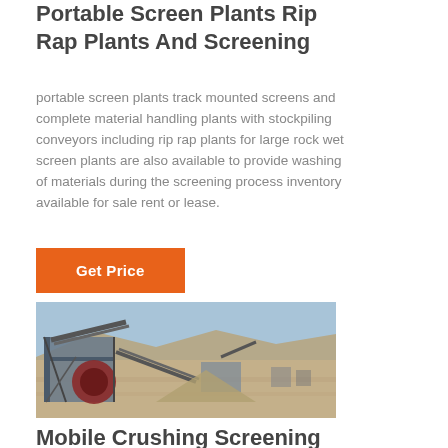Portable Screen Plants Rip Rap Plants And Screening
portable screen plants track mounted screens and complete material handling plants with stockpiling conveyors including rip rap plants for large rock wet screen plants are also available to provide washing of materials during the screening process inventory available for sale rent or lease.
[Figure (photo): Aerial view of a mobile crushing and screening plant operation in an open arid landscape with conveyor belts and heavy machinery visible.]
Mobile Crushing Screening Plants Market Size 2021